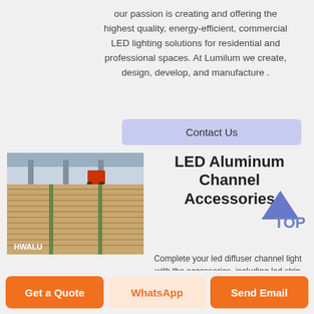our passion is creating and offering the highest quality, energy-efficient, commercial LED lighting solutions for residential and professional spaces. At Lumilum we create, design, develop, and manufacture .
Contact Us
[Figure (photo): Stacked aluminum sheets or panels in a warehouse/factory setting with HWALU label visible]
LED Aluminum Channel Accessories
TOP
Complete your led diffuser channel light with the accessories, including led strip channel
Get a Quote
WhatsApp
Send Email